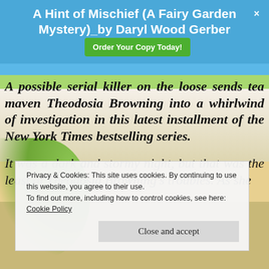A Hint of Mischief (A Fairy Garden Mystery)_by Daryl Wood Gerber  Order Your Copy Today!
A possible serial killer on the loose sends tea maven Theodosia Browning into a whirlwind of investigation in this latest installment of the New York Times bestselling series.
It was a dark and stormy night, but that was the least of Theodosia Browning's troubles. As she
Privacy & Cookies: This site uses cookies. By continuing to use this website, you agree to their use.
To find out more, including how to control cookies, see here: Cookie Policy
Close and accept